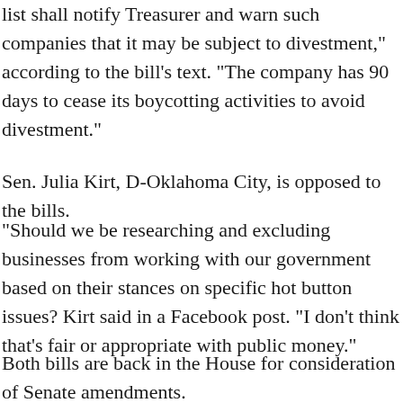list shall notify Treasurer and warn such companies that it may be subject to divestment," according to the bill's text. "The company has 90 days to cease its boycotting activities to avoid divestment."
Sen. Julia Kirt, D-Oklahoma City, is opposed to the bills.
"Should we be researching and excluding businesses from working with our government based on their stances on specific hot button issues? Kirt said in a Facebook post. "I don't think that's fair or appropriate with public money."
Both bills are back in the House for consideration of Senate amendments.